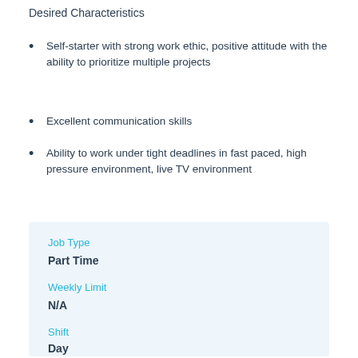Desired Characteristics
Self-starter with strong work ethic, positive attitude with the ability to prioritize multiple projects
Excellent communication skills
Ability to work under tight deadlines in fast paced, high pressure environment, live TV environment
Job Type
Part Time
Weekly Limit
N/A
Shift
Day